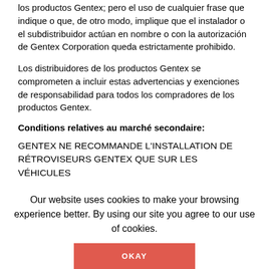los productos Gentex; pero el uso de cualquier frase que indique o que, de otro modo, implique que el instalador o el subdistribuidor actúan en nombre o con la autorización de Gentex Corporation queda estrictamente prohibido.
Los distribuidores de los productos Gentex se comprometen a incluir estas advertencias y exenciones de responsabilidad para todos los compradores de los productos Gentex.
Conditions relatives au marché secondaire:
GENTEX NE RECOMMANDE L'INSTALLATION DE RÉTROVISEURS GENTEX QUE SUR LES VÉHICULES
Our website uses cookies to make your browsing experience better. By using our site you agree to our use of cookies.